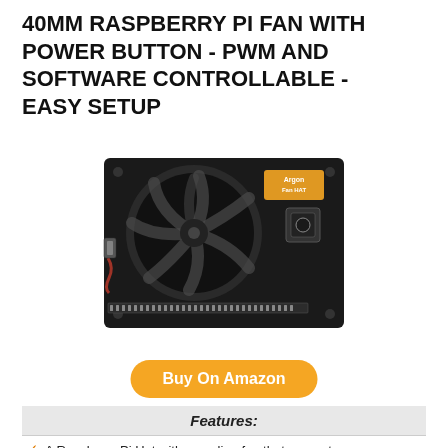40MM RASPBERRY PI FAN WITH POWER BUTTON - PWM AND SOFTWARE CONTROLLABLE - EASY SETUP
[Figure (photo): Product photo of the Argon Fan HAT — a black circuit board with a 40mm cooling fan and a power button, showing GPIO connector along the bottom edge and the Argon logo in orange on the top right of the fan]
Buy On Amazon
| Features: |
| --- |
| ✓  A Raspberry Pi Hat with a cooling fan that prevents |
| ✓  The Argon Pi 4 Fan HAT also comes with a power button that |
| ✓  The Raspberry Pi 4 Fan HAT is also PWM Controllable and |
| ✓  The Raspberry Pi Fan HAT is highly usable and flexible in a |